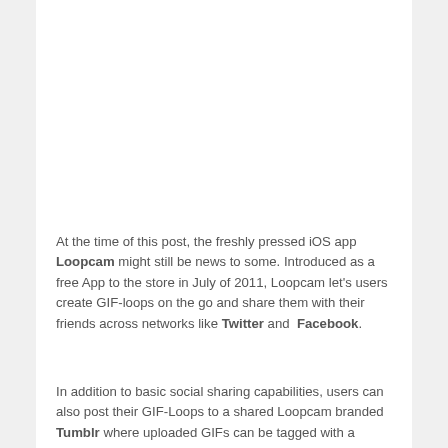At the time of this post, the freshly pressed iOS app Loopcam might still be news to some. Introduced as a free App to the store in July of 2011, Loopcam let's users create GIF-loops on the go and share them with their friends across networks like Twitter and Facebook.
In addition to basic social sharing capabilities, users can also post their GIF-Loops to a shared Loopcam branded Tumblr where uploaded GIFs can be tagged with a username. By linking directly to the